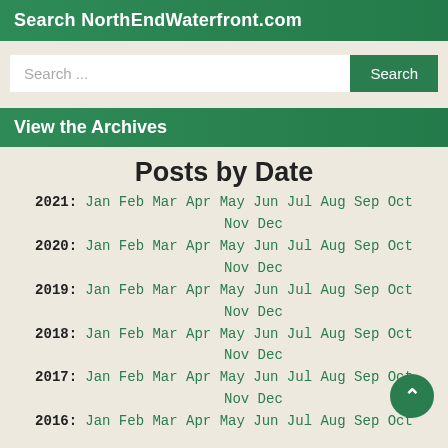Search NorthEndWaterfront.com
Search ...
View the Archives
Posts by Date
2021: Jan Feb Mar Apr May Jun Jul Aug Sep Oct Nov Dec
2020: Jan Feb Mar Apr May Jun Jul Aug Sep Oct Nov Dec
2019: Jan Feb Mar Apr May Jun Jul Aug Sep Oct Nov Dec
2018: Jan Feb Mar Apr May Jun Jul Aug Sep Oct Nov Dec
2017: Jan Feb Mar Apr May Jun Jul Aug Sep Oct Nov Dec
2016: Jan Feb Mar Apr May Jun Jul Aug Sep Oct